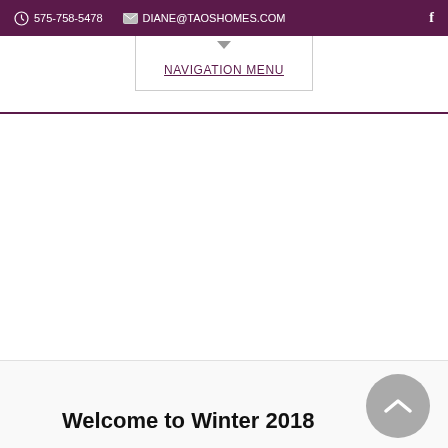575-758-5478   DIANE@TAOSHOMES.COM   f
NAVIGATION MENU
[Figure (screenshot): Large white/blank content area, likely a hero image area for a real estate website]
Welcome to Winter 2018